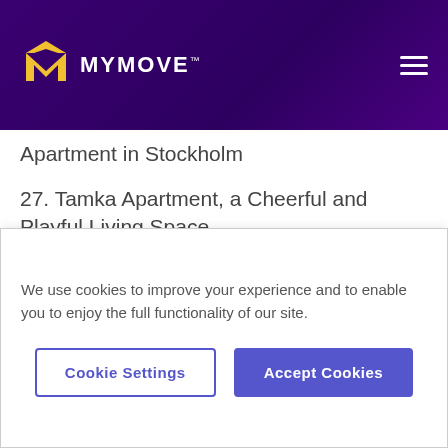MYMOVE
Apartment in Stockholm
27. Tamka Apartment, a Cheerful and Playful Living Space
28. Small But Cute and Comfy Apartment from One of Our Readers
29. Inspiring Small Apartment with Vintage Details
We use cookies to improve your experience and to enable you to enjoy the full functionality of our site.
Cookie Settings | Accept Cookies